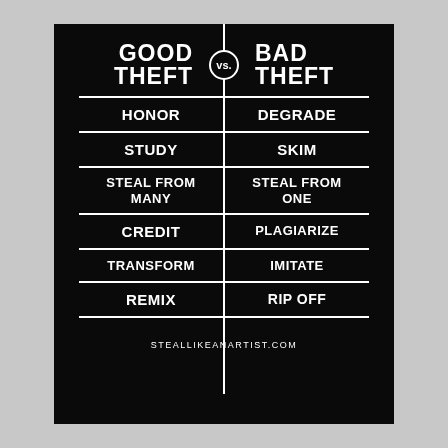[Figure (infographic): Black poster comparing Good Theft vs Bad Theft with a two-column table layout. Left column: HONOR, STUDY, STEAL FROM MANY, CREDIT, TRANSFORM, REMIX. Right column: DEGRADE, SKIM, STEAL FROM ONE, PLAGIARIZE, IMITATE, RIP OFF. Website: steallikeanartist.com]
steallikeanartist.com